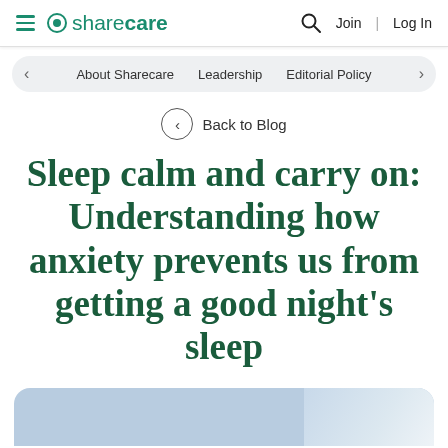sharecare — Join | Log In
About Sharecare  Leadership  Editorial Policy
Back to Blog
Sleep calm and carry on: Understanding how anxiety prevents us from getting a good night's sleep
[Figure (photo): Partial image preview at bottom of page showing a light blue/periwinkle background with what appears to be white bedding or pillows in the lower right corner.]